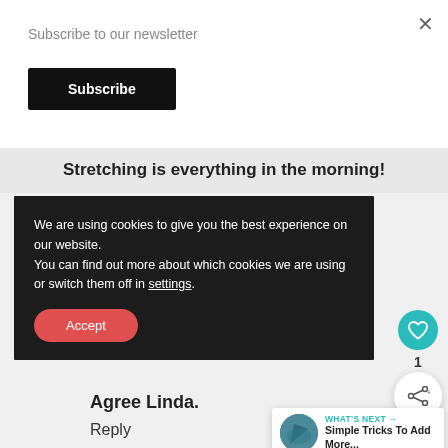×
Subscribe to our newsletter
Subscribe
Stretching is everything in the morning!
We are using cookies to give you the best experience on our website.
You can find out more about which cookies we are using or switch them off in settings.
Accept
1
Agree Linda.
Reply
WHAT'S NEXT → Simple Tricks To Add More...